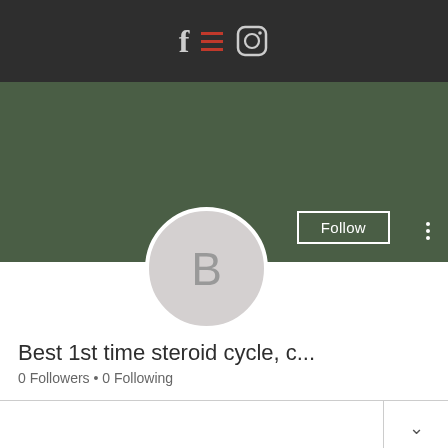[Figure (screenshot): Mobile app profile page header with dark top navigation bar showing Facebook and Instagram icons with red menu lines, a dark green cover photo area, a circular avatar with letter B, Follow button, and three-dot more menu]
Best 1st time steroid cycle, c...
0 Followers • 0 Following
Profile
Phone  WhatsApp  Email